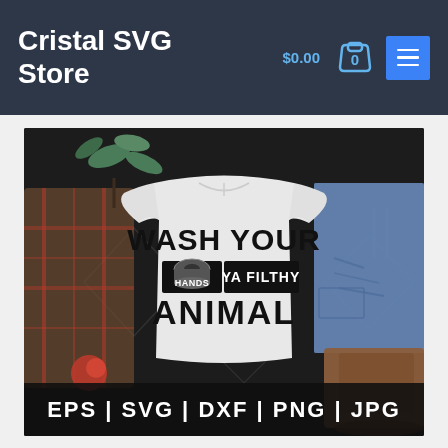Cristal SVG Store
[Figure (photo): Product mockup photo showing a white t-shirt with the text 'WASH YOUR HANDS YA FILTHY ANIMAL' printed on it, displayed on a dark background with jeans, boots, a plaid scarf, and plants. A banner at the bottom reads 'EPS | SVG | DXF | PNG | JPG'.]